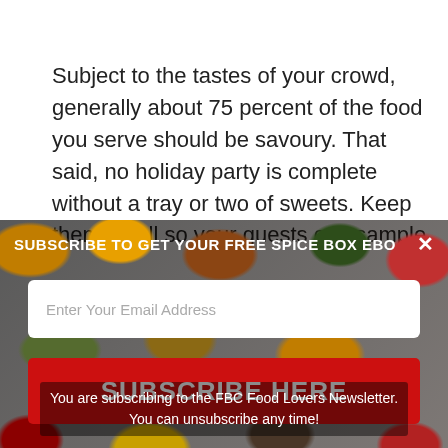Subject to the tastes of your crowd, generally about 75 percent of the food you serve should be savoury. That said, no holiday party is complete without a tray or two of sweets. Keep them small so your guests can sample
[Figure (screenshot): Popup overlay on a spice-themed background image with email subscription form. Title: SUBSCRIBE TO GET YOUR FREE SPICE BOX EBO with X close button. Email input field with placeholder 'Enter Your Email Address'. Red SUBSCRIBE HERE button. Footer text: 'You are subscribing to the FBC Food Lovers Newsletter. You can unsubscribe any time!']